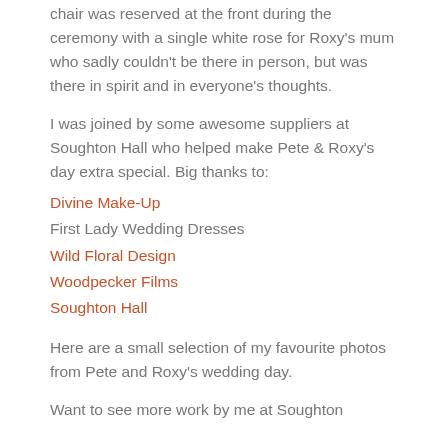chair was reserved at the front during the ceremony with a single white rose for Roxy's mum who sadly couldn't be there in person, but was there in spirit and in everyone's thoughts.
I was joined by some awesome suppliers at Soughton Hall who helped make Pete & Roxy's day extra special. Big thanks to:
Divine Make-Up
First Lady Wedding Dresses
Wild Floral Design
Woodpecker Films
Soughton Hall
Here are a small selection of my favourite photos from Pete and Roxy's wedding day.
Want to see more work by me at Soughton